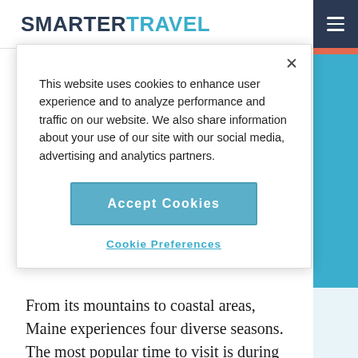SMARTERTRAVEL
This website uses cookies to enhance user experience and to analyze performance and traffic on our website. We also share information about your use of our site with our social media, advertising and analytics partners.
Accept Cookies
Cookie Preferences
From its mountains to coastal areas, Maine experiences four diverse seasons. The most popular time to visit is during the warm summer months of July and August;